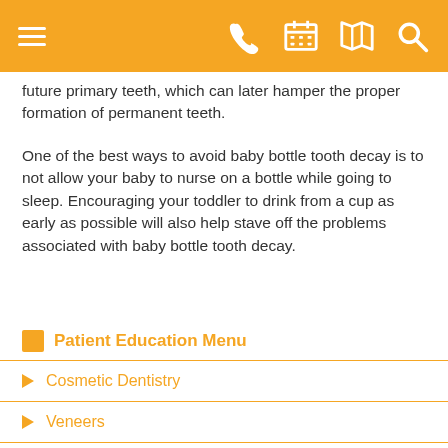future primary teeth, which can later hamper the proper formation of permanent teeth.
One of the best ways to avoid baby bottle tooth decay is to not allow your baby to nurse on a bottle while going to sleep. Encouraging your toddler to drink from a cup as early as possible will also help stave off the problems associated with baby bottle tooth decay.
Patient Education Menu
Cosmetic Dentistry
Veneers
Dental Implants
Emergency Dentist